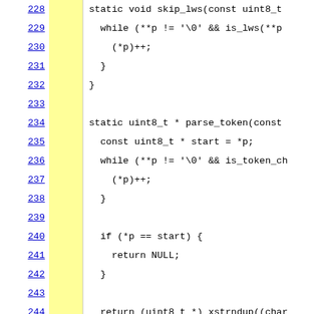[Figure (screenshot): Source code viewer showing C code lines 228-250 with line numbers in blue underlined links on the left, a yellow highlighted column, and code content on the right. Code shows functions skip_lws and parse_token and start of parse_quoted_string.]